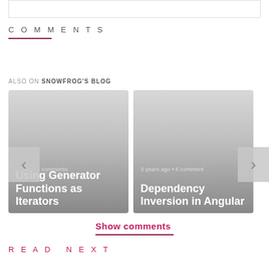COMMENTS
ALSO ON SNOWFROG'S BLOG
[Figure (screenshot): Blog post card: years ago • 4 comments, Using Generator Functions as Iterators]
[Figure (screenshot): Blog post card: 3 years ago • 6 comments, Dependency Inversion in Angular]
Show comments
READ NEXT